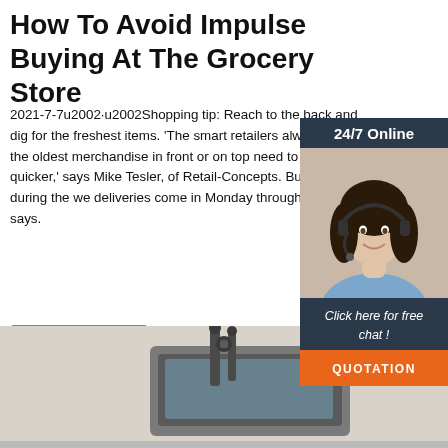How To Avoid Impulse Buying At The Grocery Store
2021-7-7u2002·u2002Shopping tip: Reach to the back and dig for the freshest items. 'The smart retailers always have the oldest merchandise in front or on top need to get rid of it quicker,' says Mike Tesler, of Retail-Concepts. Buy produce during the week, deliveries come in Monday through Friday,' Un says.
[Figure (infographic): Sidebar advertisement widget with '24/7 Online' header, photo of a woman with headset, 'Click here for free chat!' text, and orange QUOTATION button]
Get Price
[Figure (photo): Bottom portion of a tractor or heavy machinery cab, showing exhaust pipes and cab structure against white background]